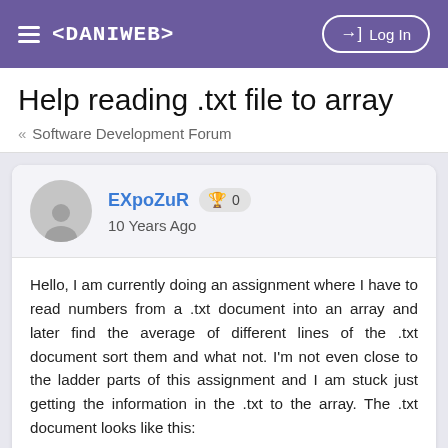≡ <DANIWEB>  →] Log In
Help reading .txt file to array
« Software Development Forum
EXpoZuR 🏆 0
10 Years Ago
Hello, I am currently doing an assignment where I have to read numbers from a .txt document into an array and later find the average of different lines of the .txt document sort them and what not. I'm not even close to the ladder parts of this assignment and I am stuck just getting the information in the .txt to the array. The .txt document looks like this:
3
3.55 2.55 1.55 4.55 5.55